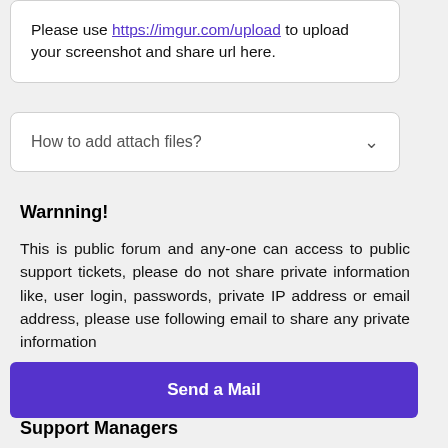Please use https://imgur.com/upload to upload your screenshot and share url here.
How to add attach files?
Warnning!
This is public forum and any-one can access to public support tickets, please do not share private information like, user login, passwords, private IP address or email address, please use following email to share any private information
Send a Mail
Support Managers
Please do not reply except following support